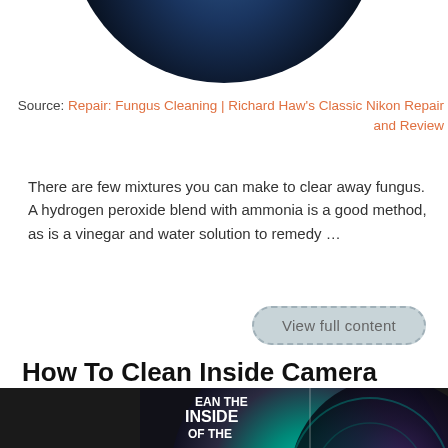[Figure (photo): Partial view of a circular camera lens or globe-like dark blue/black circular image, cropped at top]
Source: Repair: Fungus Cleaning | Richard Haw's Classic Nikon Repair and Review
There are few mixtures you can make to clear away fungus. A hydrogen peroxide blend with ammonia is a good method, as is a vinegar and water solution to remedy …
View full content
How To Clean Inside Camera Lens: Dos And Don'ts – Continental
[Figure (photo): Circular camera lens image with text overlay reading CLEAN THE INSIDE OF THE OILY LENS, dark background with teal lens elements visible]